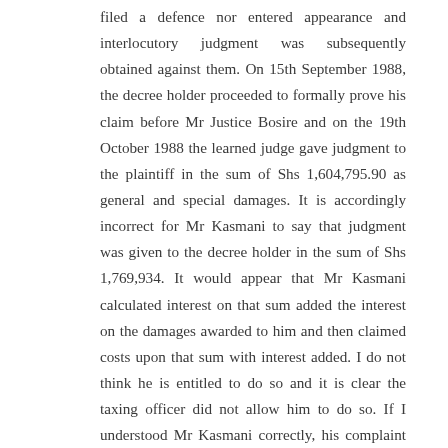filed a defence nor entered appearance and interlocutory judgment was subsequently obtained against them. On 15th September 1988, the decree holder proceeded to formally prove his claim before Mr Justice Bosire and on the 19th October 1988 the learned judge gave judgment to the plaintiff in the sum of Shs 1,604,795.90 as general and special damages. It is accordingly incorrect for Mr Kasmani to say that judgment was given to the decree holder in the sum of Shs 1,769,934. It would appear that Mr Kasmani calculated interest on that sum added the interest on the damages awarded to him and then claimed costs upon that sum with interest added. I do not think he is entitled to do so and it is clear the taxing officer did not allow him to do so. If I understood Mr Kasmani correctly, his complaint against the taxing officer is that instructions fee would have been allowed under rule 1A(b) of schedule VI of the Advocates (Renumeration) Order and not